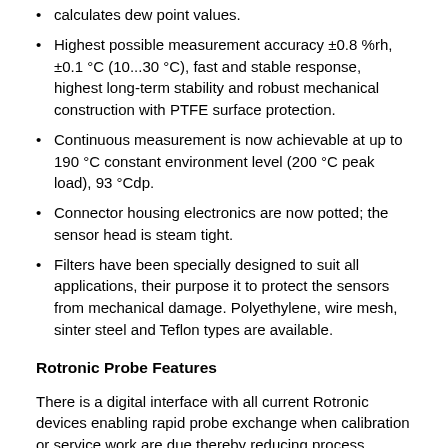calculates dew point values.
Highest possible measurement accuracy ±0.8 %rh, ±0.1 °C (10...30 °C), fast and stable response, highest long-term stability and robust mechanical construction with PTFE surface protection.
Continuous measurement is now achievable at up to 190 °C constant environment level (200 °C peak load), 93 °Cdp.
Connector housing electronics are now potted; the sensor head is steam tight.
Filters have been specially designed to suit all applications, their purpose it to protect the sensors from mechanical damage. Polyethylene, wire mesh, sinter steel and Teflon types are available.
Rotronic Probe Features
There is a digital interface with all current Rotronic devices enabling rapid probe exchange when calibration or service work are due thereby reducing process downtime to seconds